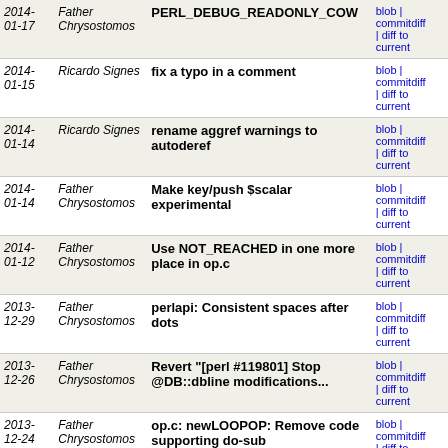| Date | Author | Commit | Links |
| --- | --- | --- | --- |
| 2014-01-17 | Father Chrysostomos | PERL_DEBUG_READONLY_COW | blob | commitdiff | diff to current |
| 2014-01-15 | Ricardo Signes | fix a typo in a comment | blob | commitdiff | diff to current |
| 2014-01-14 | Ricardo Signes | rename aggref warnings to autoderef | blob | commitdiff | diff to current |
| 2014-01-14 | Father Chrysostomos | Make key/push $scalar experimental | blob | commitdiff | diff to current |
| 2014-01-12 | Father Chrysostomos | Use NOT_REACHED in one more place in op.c | blob | commitdiff | diff to current |
| 2013-12-29 | Father Chrysostomos | perlapi: Consistent spaces after dots | blob | commitdiff | diff to current |
| 2013-12-26 | Father Chrysostomos | Revert "[perl #119801] Stop @DB::dbline modifications... | blob | commitdiff | diff to current |
| 2013-12-24 | Father Chrysostomos | op.c: newLOOPOP: Remove code supporting do-sub | blob | commitdiff | diff to current |
| 2013-12-23 | Daniel Dragan | [perl #115736] fix undocumented param from newATTRSUB_flags | blob | commitdiff | diff to current |
| 2013-12-22 | Father Chrysostomos | [perl #119801] Stop @DB::dbline modifications from... | blob | commitdiff | diff to current |
| 2013-... | ... | Remove... | blob |